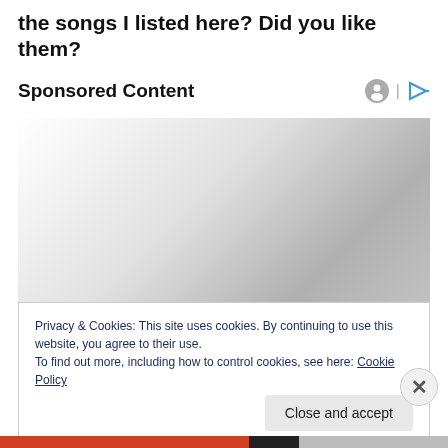the songs I listed here? Did you like them?
Sponsored Content
[Figure (other): Sponsored content advertisement placeholder with gradient gray background]
Privacy & Cookies: This site uses cookies. By continuing to use this website, you agree to their use.
To find out more, including how to control cookies, see here: Cookie Policy
Close and accept